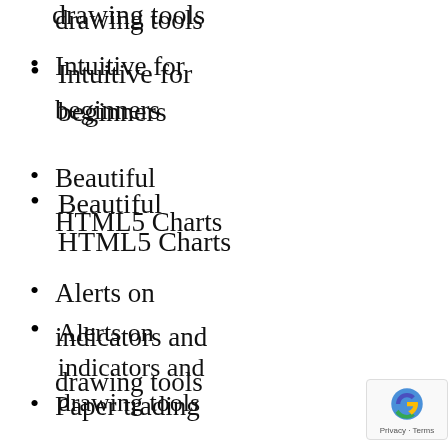drawing tools
Intuitive for beginners
Beautiful HTML5 Charts
Alerts on indicators and drawing tools
Paper trading
Multiple broker supported